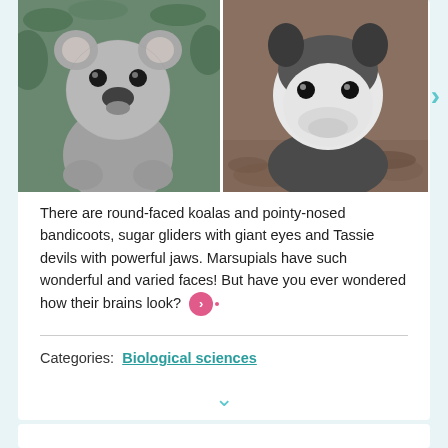[Figure (photo): Side-by-side photos of two marsupials: a round-faced koala on the left and a pointy-nosed opossum on the right]
There are round-faced koalas and pointy-nosed bandicoots, sugar gliders with giant eyes and Tassie devils with powerful jaws. Marsupials have such wonderful and varied faces! But have you ever wondered how their brains look?
Categories:  Biological sciences